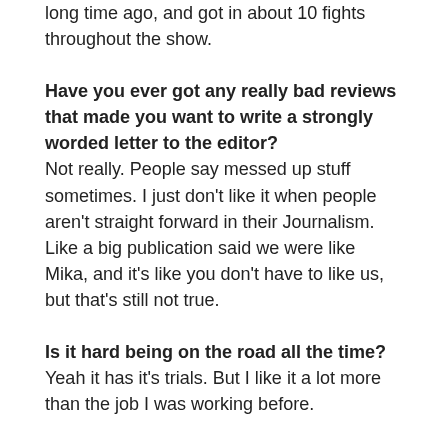long time ago, and got in about 10 fights throughout the show.
Have you ever got any really bad reviews that made you want to write a strongly worded letter to the editor?
Not really. People say messed up stuff sometimes. I just don't like it when people aren't straight forward in their Journalism. Like a big publication said we were like Mika, and it's like you don't have to like us, but that's still not true.
Is it hard being on the road all the time?
Yeah it has it's trials. But I like it a lot more than the job I was working before.